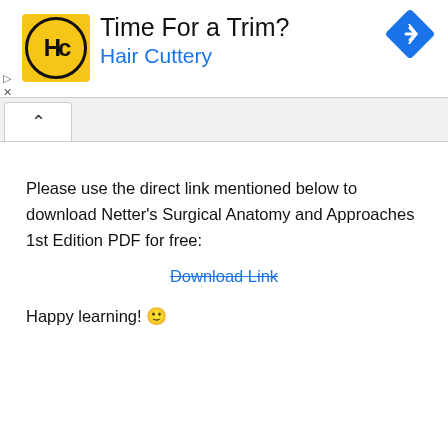[Figure (other): Hair Cuttery advertisement banner with yellow HC logo, text 'Time For a Trim?' and 'Hair Cuttery', and a blue navigation diamond icon on the right]
[Figure (other): Tab bar with a collapse/up-arrow button tab]
Please use the direct link mentioned below to download Netter's Surgical Anatomy and Approaches 1st Edition PDF for free:
Download Link
Happy learning! 🙂